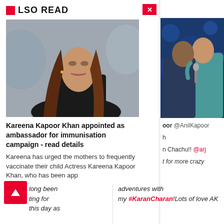ALSO READ
[Figure (photo): Kareena Kapoor Khan headshot photo - woman with long brown hair in black outfit]
Kareena Kapoor Khan appointed as ambassador for immunisation campaign - read details
Kareena has urged the mothers to frequently vaccinate their child Actress Kareena Kapoor Khan, who has been app
[Figure (photo): Two men in suits on stage, one in teal suit hugging the other, blue bokeh background]
oor @AnilKapoor
h
n Chachu!! @arj
t for more crazy
long been ting for this day as
adventures with my #KaranCharan!Lots of love AK